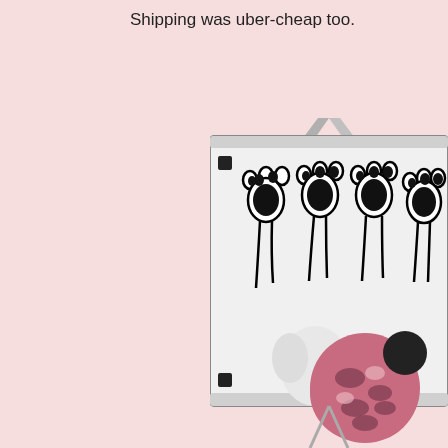Shipping was uber-cheap too.
[Figure (photo): A dog wearing a pink camouflage outfit/bandana, with its paw raised toward a whiteboard that has four black paw print drawings on it. The whiteboard appears to be on an easel.]